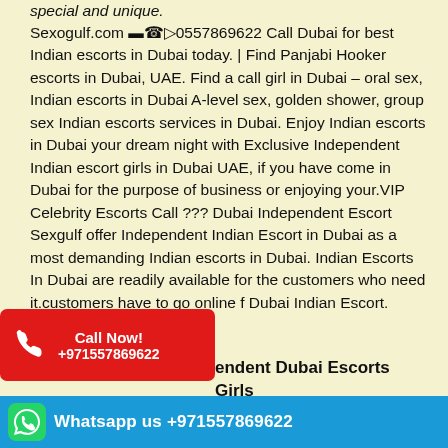special and unique.
Sexogulf.com ▬☎▷0557869622 Call Dubai for best Indian escorts in Dubai today. | Find Panjabi Hooker escorts in Dubai, UAE. Find a call girl in Dubai – oral sex, Indian escorts in Dubai A-level sex, golden shower, group sex Indian escorts services in Dubai. Enjoy Indian escorts in Dubai your dream night with Exclusive Independent Indian escort girls in Dubai UAE, if you have come in Dubai for the purpose of business or enjoying your.VIP Celebrity Escorts Call ??? Dubai Independent Escort Sexgulf offer Independent Indian Escort in Dubai as a most demanding Indian escorts in Dubai. Indian Escorts In Dubai are readily available for the customers who need it.customers have to go online f Dubai Indian Escort.
[Figure (infographic): Red 'Call Now! +971557869622' badge with phone handset icon on the left]
endent Dubai Escorts Girls
Sexogulf.com ▬☎▷0557869622 Independent Indian ... offers Celebrity Independent Indian Escort in Dubai ... Call At- Dubai
[Figure (infographic): Blue WhatsApp bar at bottom: 'Whatsapp us +971557869622' with WhatsApp icon]